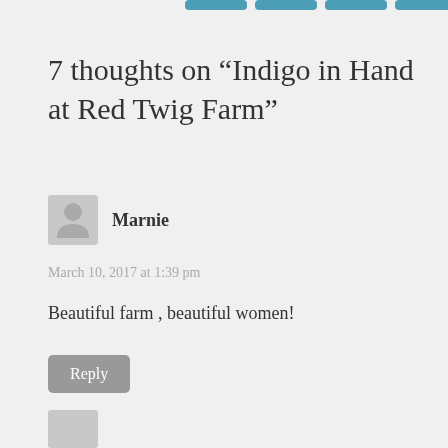[Figure (other): Navigation buttons (partially cropped at top of page) — four teal/blue rounded rectangle buttons]
7 thoughts on “Indigo in Hand at Red Twig Farm”
Marnie
March 10, 2017 at 1:39 pm
Beautiful farm , beautiful women!
Reply